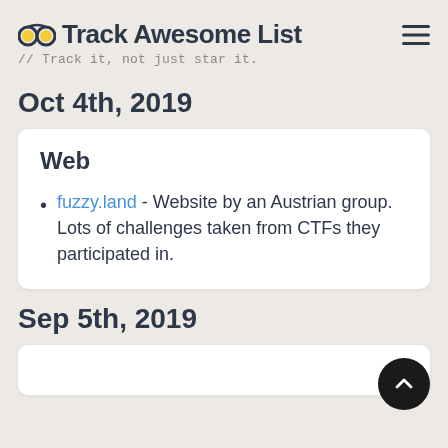Track Awesome List // Track it, not just star it.
Oct 4th, 2019
Web
fuzzy.land - Website by an Austrian group. Lots of challenges taken from CTFs they participated in.
Sep 5th, 2019